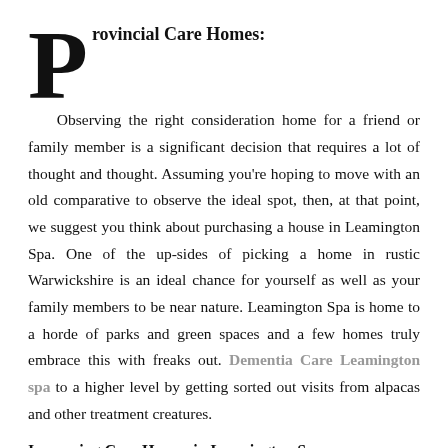Provincial Care Homes:
Observing the right consideration home for a friend or family member is a significant decision that requires a lot of thought and thought. Assuming you're hoping to move with an old comparative to observe the ideal spot, then, at that point, we suggest you think about purchasing a house in Leamington Spa. One of the up-sides of picking a home in rustic Warwickshire is an ideal chance for yourself as well as your family members to be near nature. Leamington Spa is home to a horde of parks and green spaces and a few homes truly embrace this with freaks out. Dementia Care Leamington spa to a higher level by getting sorted out visits from alpacas and other treatment creatures.
Improving Care Homes in Leamington Spa: